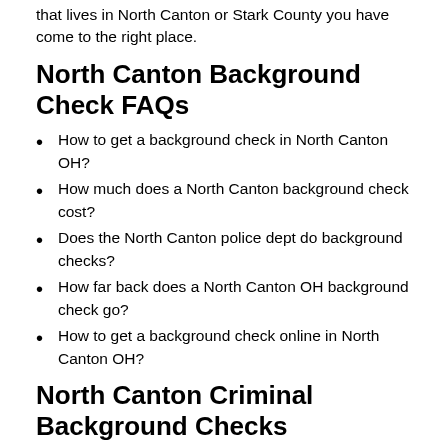that lives in North Canton or Stark County you have come to the right place.
North Canton Background Check FAQs
How to get a background check in North Canton OH?
How much does a North Canton background check cost?
Does the North Canton police dept do background checks?
How far back does a North Canton OH background check go?
How to get a background check online in North Canton OH?
North Canton Criminal Background Checks
[Figure (photo): Photo of glasses resting on a document that reads CRIMINAL BACKGROUND CHECK in blue text]